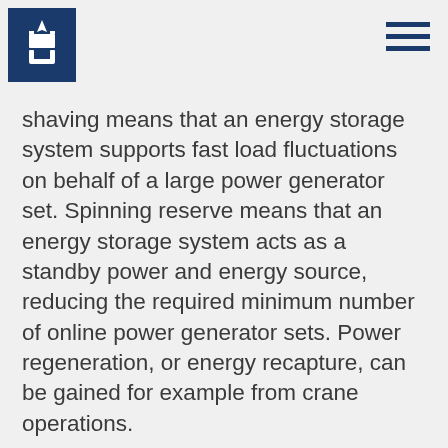shaving means that an energy storage system supports fast load fluctuations on behalf of a large power generator set. Spinning reserve means that an energy storage system acts as a standby power and energy source, reducing the required minimum number of online power generator sets. Power regeneration, or energy recapture, can be gained for example from crane operations.
The time delay which occurs when starting